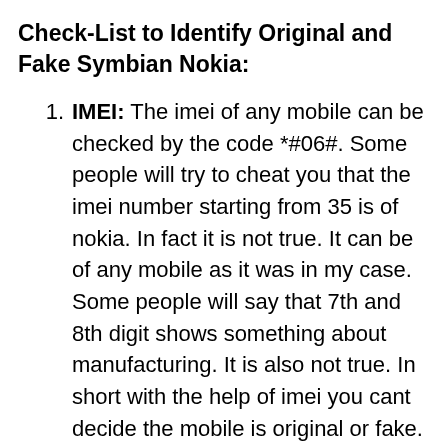Check-List to Identify Original and Fake Symbian Nokia:
IMEI: The imei of any mobile can be checked by the code *#06#. Some people will try to cheat you that the imei number starting from 35 is of nokia. In fact it is not true. It can be of any mobile as it was in my case. Some people will say that 7th and 8th digit shows something about manufacturing. It is also not true. In short with the help of imei you cant decide the mobile is original or fake.
*#0000# Code: In new coming fake